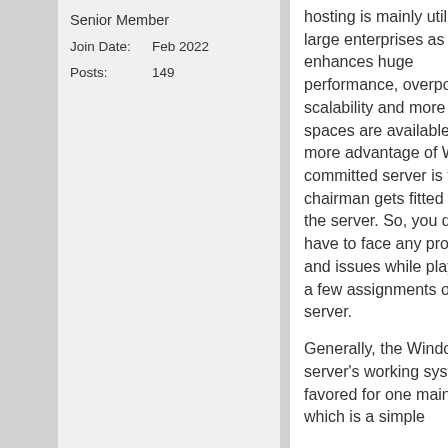Senior Member
Join Date:    Feb 2022
Posts:    149
hosting is mainly utilized by large enterprises as it enhances huge performance, overpowered, scalability and more storage spaces are available. One more advantage of Windows committed server is the root chairman gets fitted out with the server. So, you don't have to face any problems and issues while playing out a few assignments on the server.
Generally, the Windows server's working system is favored for one main reason, which is a simple